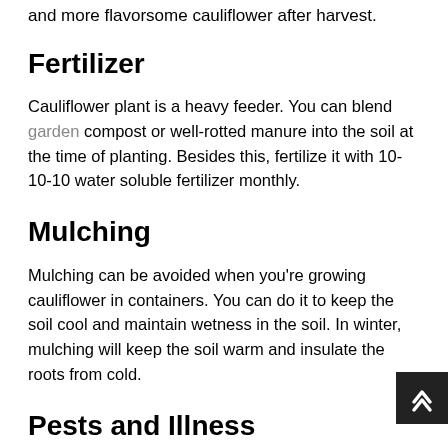and more flavorsome cauliflower after harvest.
Fertilizer
Cauliflower plant is a heavy feeder. You can blend garden compost or well-rotted manure into the soil at the time of planting. Besides this, fertilize it with 10-10-10 water soluble fertilizer monthly.
Mulching
Mulching can be avoided when you're growing cauliflower in containers. You can do it to keep the soil cool and maintain wetness in the soil. In winter, mulching will keep the soil warm and insulate the roots from cold.
Pests and Illness
Bugs that damage the leaves, such as flea beetles, the larva of cabbage butterfly and moths enjoy to feed upon this plant. It can likewise be assaulted by aphids and white flies.
In diseases, it is infected by clubroot, which can be